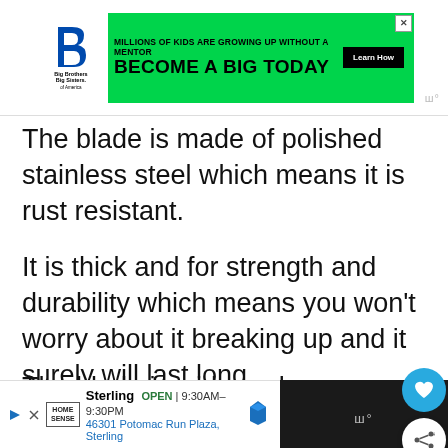[Figure (screenshot): Big Brothers Big Sisters of America advertisement banner on green background with text 'MILLIONS OF KIDS ARE GROWING UP WITHOUT A MENTOR / BECOME A BIG TODAY' and a 'Learn How' button]
The blade is made of polished stainless steel which means it is rust resistant.
It is thick and for strength and durability which means you won't worry about it breaking up and it surely will last long.
The blade is wide and concave enough for scooping and that is a vital feature that a trowel must have.
[Figure (screenshot): Bottom advertisement banner for Home Sense store in Sterling showing open hours 9:30AM-9:30PM and address 46301 Potomac Run Plaza, Sterling]